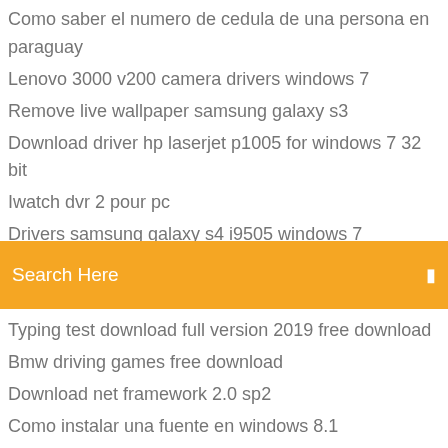Como saber el numero de cedula de una persona en paraguay
Lenovo 3000 v200 camera drivers windows 7
Remove live wallpaper samsung galaxy s3
Download driver hp laserjet p1005 for windows 7 32 bit
Iwatch dvr 2 pour pc
Drivers samsung galaxy s4 i9505 windows 7
[Figure (screenshot): Orange search bar with text 'Search Here' and a search icon on the right]
Typing test download full version 2019 free download
Bmw driving games free download
Download net framework 2.0 sp2
Como instalar una fuente en windows 8.1
Contraseñas de gta san andreas ps3
Can we install apps in sony smart tv
Panchatantra stories in kannada pdf with pictures
Plants vs zombies for pc free full version
Audacity free download for windows 8 32 bit